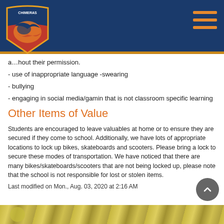Chimeras school header with logo and navigation
a…hout their permission.
- use of inappropriate language -swearing
- bullying
- engaging in social media/gamin that is not classroom specific learning
Other Items of Value
Students are encouraged to leave valuables at home or to ensure they are secured if they come to school. Additionally, we have lots of appropriate locations to lock up bikes, skateboards and scooters. Please bring a lock to secure these modes of transportation. We have noticed that there are many bikes/skateboards/scooters that are not being locked up, please note that the school is not responsible for lost or stolen items.
Last modified on Mon., Aug. 03, 2020 at 2:16 AM
[Figure (photo): Bottom image strip showing what appears to be outdoor/sports equipment]